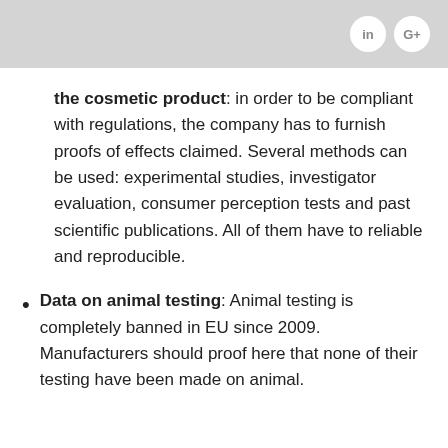in G+
the cosmetic product: in order to be compliant with regulations, the company has to furnish proofs of effects claimed. Several methods can be used: experimental studies, investigator evaluation, consumer perception tests and past scientific publications. All of them have to reliable and reproducible.
Data on animal testing: Animal testing is completely banned in EU since 2009. Manufacturers should proof here that none of their testing have been made on animal.